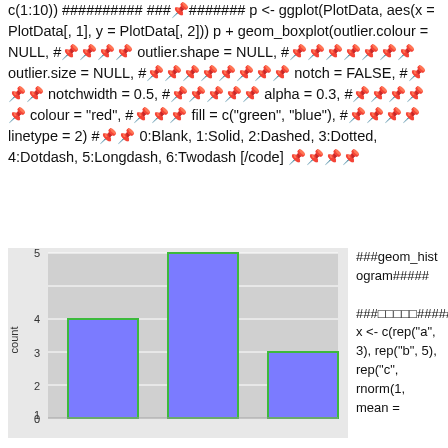c(1:10)) ########## ###ééééé######## p <- ggplot(PlotData, aes(x = PlotData[, 1], y = PlotData[, 2])) p + geom_boxplot(outlier.colour = NULL, #ééééé outlier.shape = NULL, #éééééééé outlier.size = NULL, #éééééééééé notch = FALSE, #ééé notchwidth = 0.5, #ééééé alpha = 0.3, #éééééé colour = "red", #ééé fill = c("green", "blue"), #éééé linetype = 2) #éé 0:Blank, 1:Solid, 2:Dashed, 3:Dotted, 4:Dotdash, 5:Longdash, 6:Twodash [/code] éééé
[Figure (bar-chart): ]
###geom_histogram##### ###ééééé##### x <- c(rep("a", 3), rep("b", 5), rep("c", rnorm(1, mean =